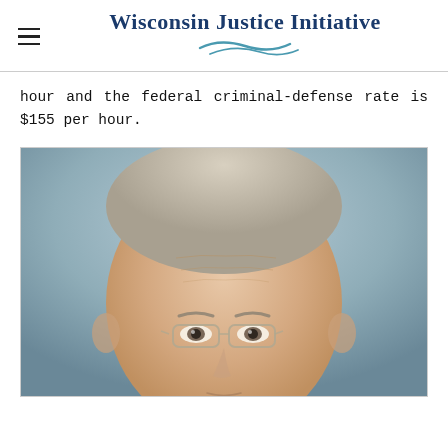Wisconsin Justice Initiative
hour and the federal criminal-defense rate is $155 per hour.
[Figure (photo): Close-up photograph of an older man with white/gray hair, wearing glasses, against a grayish-blue background. The photo shows the man's face and top of head, cropped at the forehead area.]